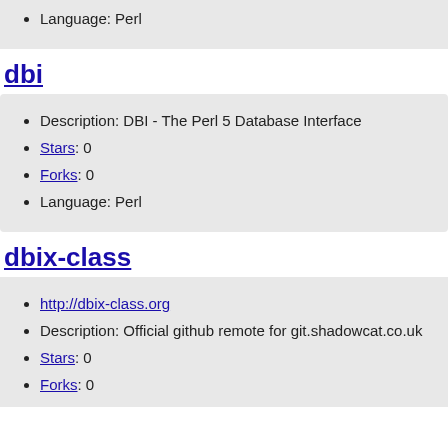Language: Perl
dbi
Description: DBI - The Perl 5 Database Interface
Stars: 0
Forks: 0
Language: Perl
dbix-class
http://dbix-class.org
Description: Official github remote for git.shadowcat.co.uk
Stars: 0
Forks: 0